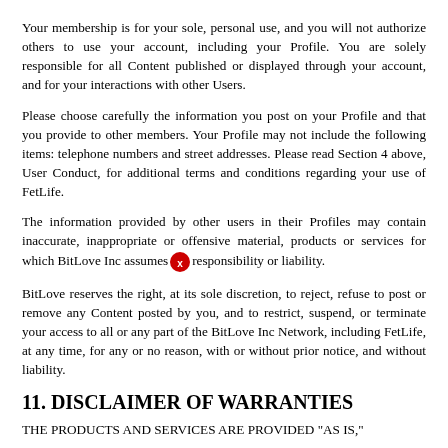Your membership is for your sole, personal use, and you will not authorize others to use your account, including your Profile. You are solely responsible for all Content published or displayed through your account, and for your interactions with other Users.
Please choose carefully the information you post on your Profile and that you provide to other members. Your Profile may not include the following items: telephone numbers and street addresses. Please read Section 4 above, User Conduct, for additional terms and conditions regarding your use of FetLife.
The information provided by other users in their Profiles may contain inaccurate, inappropriate or offensive material, products or services for which BitLove Inc assumes [redacted] responsibility or liability.
BitLove reserves the right, at its sole discretion, to reject, refuse to post or remove any Content posted by you, and to restrict, suspend, or terminate your access to all or any part of the BitLove Inc Network, including FetLife, at any time, for any or no reason, with or without prior notice, and without liability.
11. DISCLAIMER OF WARRANTIES
THE PRODUCTS AND SERVICES ARE PROVIDED "AS IS,"